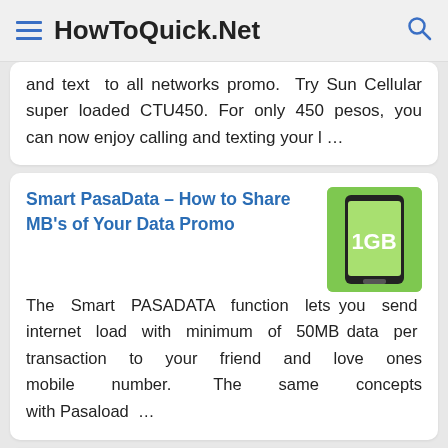HowToQuick.Net
and text to all networks promo. Try Sun Cellular super loaded CTU450. For only 450 pesos, you can now enjoy calling and texting your l …
Smart PasaData – How to Share MB's of Your Data Promo
The Smart PASADATA function lets you send internet load with minimum of 50MB data per transaction to your friend and love ones mobile number. The same concepts with Pasaload …
Sun Cellular TA30 – 30 Pesos for 3